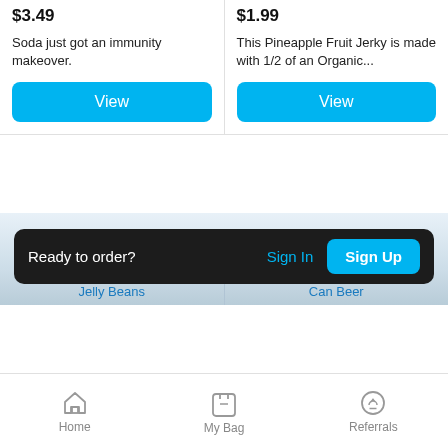$3.49
Soda just got an immunity makeover.
View
$1.99
This Pineapple Fruit Jerky is made with 1/2 of an Organic...
View
Browse More Categories
Jelly Beans
Can Beer
Ready to order?
Sign In
Sign Up
Home
My Bag
Referrals